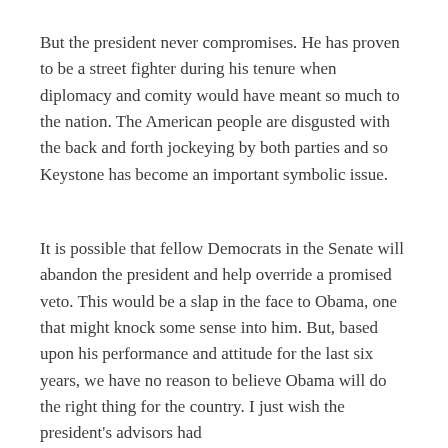But the president never compromises. He has proven to be a street fighter during his tenure when diplomacy and comity would have meant so much to the nation. The American people are disgusted with the back and forth jockeying by both parties and so Keystone has become an important symbolic issue.
It is possible that fellow Democrats in the Senate will abandon the president and help override a promised veto. This would be a slap in the face to Obama, one that might knock some sense into him. But, based upon his performance and attitude for the last six years, we have no reason to believe Obama will do the right thing for the country. I just wish the president's advisors had